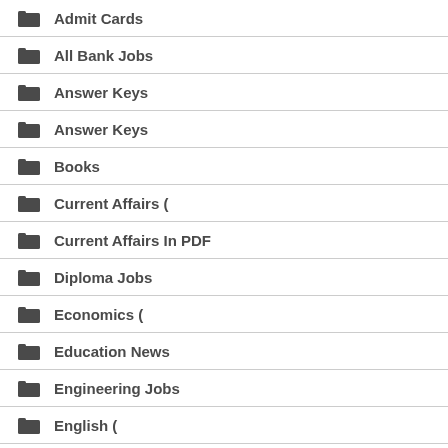Admit Cards
All Bank Jobs
Answer Keys
Answer Keys
Books
Current Affairs (
Current Affairs In PDF
Diploma Jobs
Economics (
Education News
Engineering Jobs
English (
Exam News